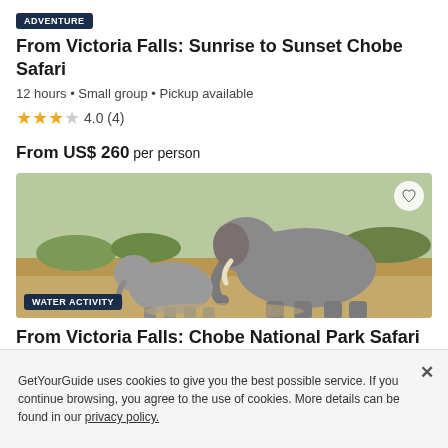ADVENTURE
From Victoria Falls: Sunrise to Sunset Chobe Safari
12 hours • Small group • Pickup available
4.0 (4)
From US$ 260 per person
[Figure (photo): Two elephants, an adult and a baby, walking in a savanna landscape with dry grass and green shrubs in the background.]
WATER ACTIVITY
From Victoria Falls: Chobe National Park Safari and Cruise
8 hours • Small group • Pickup available
From US$ 170 per person
GetYourGuide uses cookies to give you the best possible service. If you continue browsing, you agree to the use of cookies. More details can be found in our privacy policy.